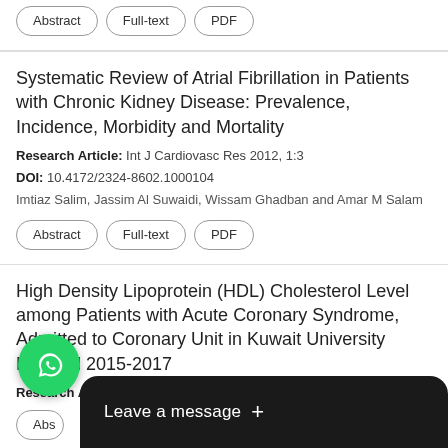Abstract | Full-text | PDF (buttons, top card partial)
Systematic Review of Atrial Fibrillation in Patients with Chronic Kidney Disease: Prevalence, Incidence, Morbidity and Mortality
Research Article: Int J Cardiovasc Res 2012, 1:3
DOI: 10.4172/2324-8602.1000104
Imtiaz Salim, Jassim Al Suwaidi, Wissam Ghadban and Amar M Salam
Abstract | Full-text | PDF
High Density Lipoprotein (HDL) Cholesterol Level among Patients with Acute Coronary Syndrome, Admitted to Coronary Unit in Kuwait University Hospital 2015-2017
Research Article: Int J Cardiovasc Res 2019, 8:3
Abs (partial, obscured by overlay)